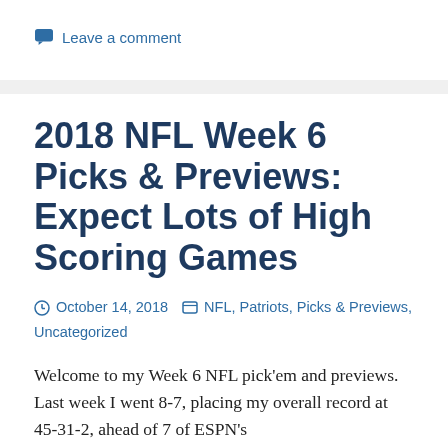Leave a comment
2018 NFL Week 6 Picks & Previews: Expect Lots of High Scoring Games
October 14, 2018   NFL, Patriots, Picks & Previews, Uncategorized
Welcome to my Week 6 NFL pick'em and previews.  Last week I went 8-7, placing my overall record at 45-31-2, ahead of 7 of ESPN's